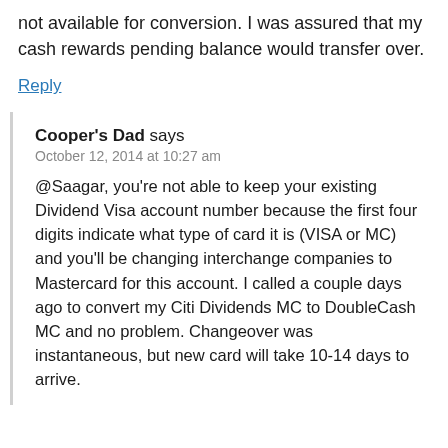not available for conversion. I was assured that my cash rewards pending balance would transfer over.
Reply
Cooper's Dad says
October 12, 2014 at 10:27 am
@Saagar, you're not able to keep your existing Dividend Visa account number because the first four digits indicate what type of card it is (VISA or MC) and you'll be changing interchange companies to Mastercard for this account. I called a couple days ago to convert my Citi Dividends MC to DoubleCash MC and no problem. Changeover was instantaneous, but new card will take 10-14 days to arrive.